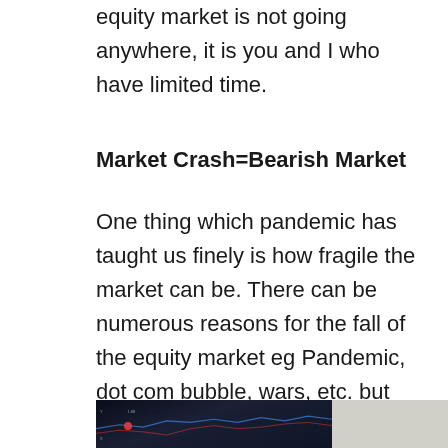equity market is not going anywhere, it is you and I who have limited time.
Market Crash=Bearish Market
One thing which pandemic has taught us finely is how fragile the market can be. There can be numerous reasons for the fall of the equity market eg Pandemic, dot com bubble, wars, etc. but one thing is certain that the market stabilizes and recovers.
[Figure (photo): A stock market trading screen showing charts and financial data with red and blue indicators, partially visible, split with a blurred light background on the right side.]